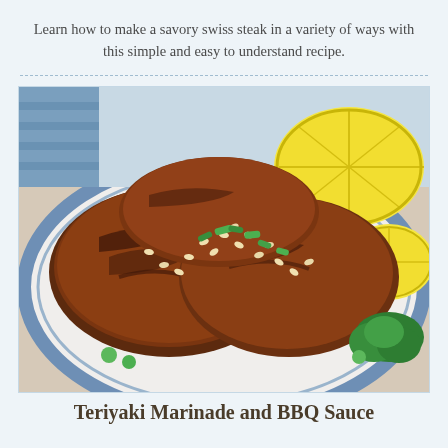Learn how to make a savory swiss steak in a variety of ways with this simple and easy to understand recipe.
[Figure (photo): A plate of teriyaki-glazed grilled steak pieces topped with sesame seeds and chopped green onions, served with lemon wedges and parsley garnish on a white plate.]
Teriyaki Marinade and BBQ Sauce